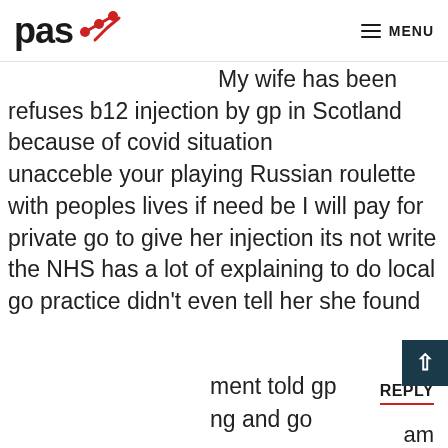pas [logo with checkmark] MENU
Keith Laughlin on 13 May, 2020 at 9:18 am
My wife has been refuses b12 injection by gp in Scotland because of covid situation unacceble your playing Russian roulette with peoples lives if need be I will pay for private go to give her injection its not write the NHS has a lot of explaining to do local go practice didn't even tell her she found ment told gp ng and go
We use cookies on our website to give you the most relevant experience by remembering your preferences and repeat visits. By clicking “Accept”, you consent to the use of ALL cookies. Visit Cookie settings to provide a controlled consent. Read More
Reject
ACCEPT
REPLY
am
ed BSH